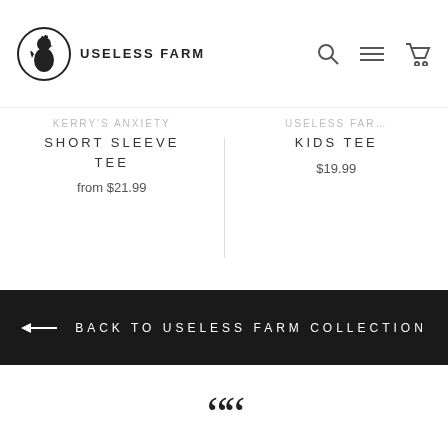USELESS FARM
KERRY'S ANXIETY SHORT SLEEVE TEE
from $21.99
USELESS FARM KIDS TEE
$19.99
← BACK TO USELESS FARM COLLECTION
“Useless Merch is almost as good as a human cuddle (but